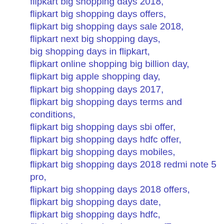flipkart big shopping days 2018,
flipkart big shopping days offers,
flipkart big shopping days sale 2018,
flipkart next big shopping days,
big shopping days in flipkart,
flipkart online shopping big billion day,
flipkart big apple shopping day,
flipkart big shopping days 2017,
flipkart big shopping days terms and conditions,
flipkart big shopping days sbi offer,
flipkart big shopping days hdfc offer,
flipkart big shopping days mobiles,
flipkart big shopping days 2018 redmi note 5 pro,
flipkart big shopping days 2018 offers,
flipkart big shopping days date,
flipkart big shopping days hdfc,
flipkart big shopping days oppo f7,
flipkart big billion day online shopping,
big app shopping days in flipkart,
flipkart big shopping days 2016,
flipkart big shopping days 2017 sbi offer,
flipkart big shopping days july 2018,